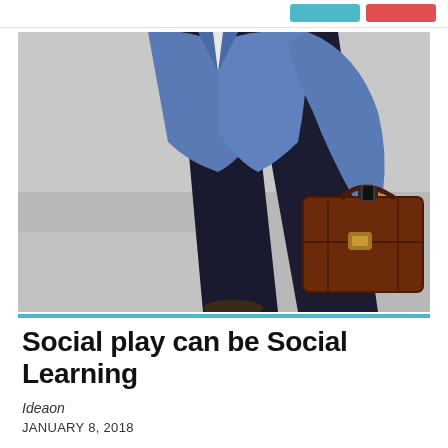[Figure (photo): Business person in a blue suit jacket walking briskly while carrying a brown leather briefcase, shot from behind/side angle, grey background.]
Social play can be Social Learning
Ideaon
JANUARY 8, 2018